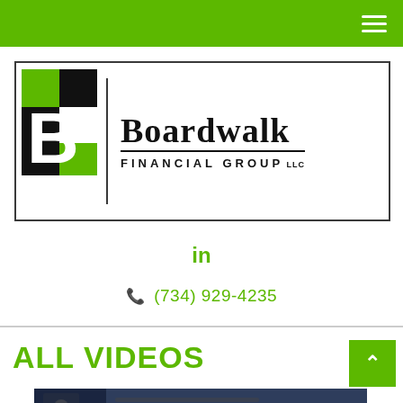Boardwalk Financial Group LLC - navigation header bar
[Figure (logo): Boardwalk Financial Group LLC logo with green and black B icon on left and company name text on right]
in
(734) 929-4235
ALL VIDEOS
[Figure (photo): Video thumbnail showing a person in a dark suit at a desk with a laptop]